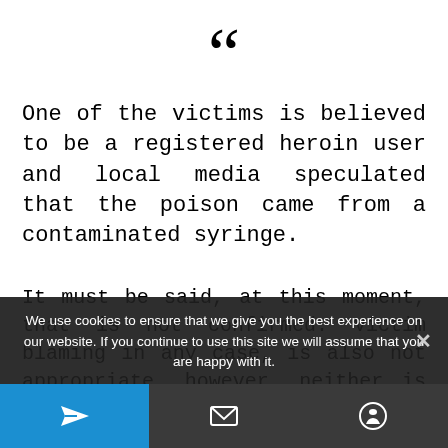“One of the victims is believed to be a registered heroin user and local media speculated that the poison came from a contaminated syringe.
It must be said, at this moment, that is not confirmed. Victim blaming in any case, is also not appropriate, however, neither is Russia
We use cookies to ensure that we give you the best experience on our website. If you continue to use this site we will assume that you are happy with it.
[Figure (other): Telegram send icon button on blue background]
[Figure (other): Email/envelope icon on dark grey background]
[Figure (other): Comment/chat bubble icon on dark grey background]